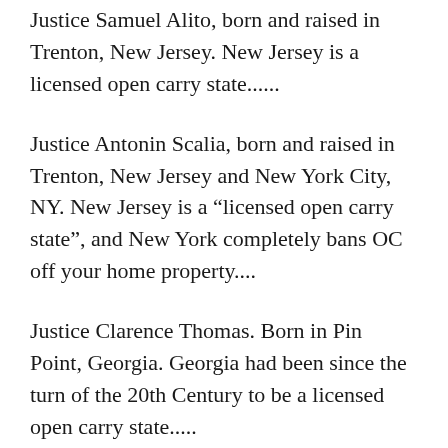Justice Samuel Alito, born and raised in Trenton, New Jersey. New Jersey is a licensed open carry state......
Justice Antonin Scalia, born and raised in Trenton, New Jersey and New York City, NY. New Jersey is a “licensed open carry state”, and New York completely bans OC off your home property....
Justice Clarence Thomas. Born in Pin Point, Georgia. Georgia had been since the turn of the 20th Century to be a licensed open carry state.....
Justice Anthony Kennedy. Born in Sacramento, California. Was formerly a